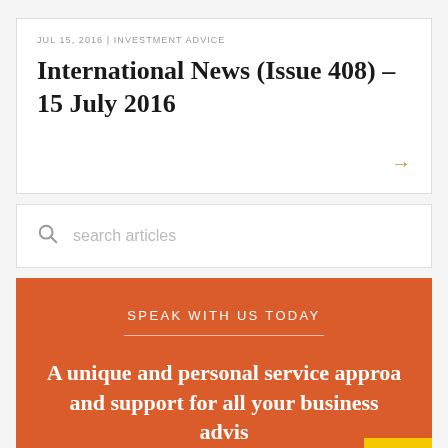JUL 15, 2016 | INVESTMENT ADVICE
International News (Issue 408) – 15 July 2016
→
search articles
SPEAK WITH US TODAY
A unique and personal service approa and support for all your business advis and personal wealth management needs